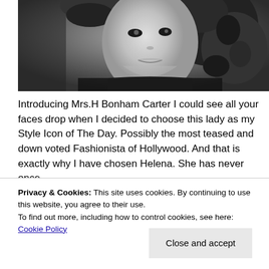[Figure (photo): Black and white close-up portrait of Helena Bonham Carter with curly hair, looking slightly off-camera with a serious expression.]
Introducing Mrs.H Bonham Carter I could see all your faces drop when I decided to choose this lady as my Style Icon of The Day. Possibly the most teased and down voted Fashionista of Hollywood. And that is exactly why I have chosen Helena. She has never once
Privacy & Cookies: This site uses cookies. By continuing to use this website, you agree to their use.
To find out more, including how to control cookies, see here: Cookie Policy
Close and accept